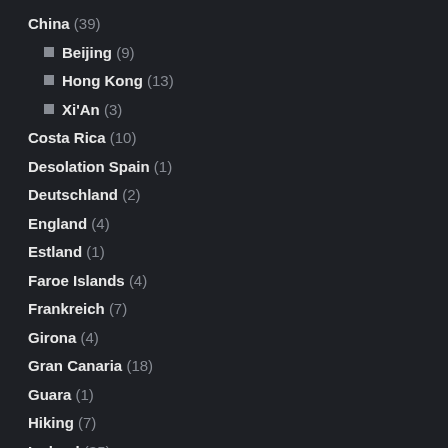China (39)
Beijing (9)
Hong Kong (13)
Xi'An (3)
Costa Rica (10)
Desolation Spain (1)
Deutschland (2)
England (4)
Estland (1)
Faroe Islands (4)
Frankreich (7)
Girona (4)
Gran Canaria (18)
Guara (1)
Hiking (7)
Iceland (35)
Im Ländle (1)
India (2)